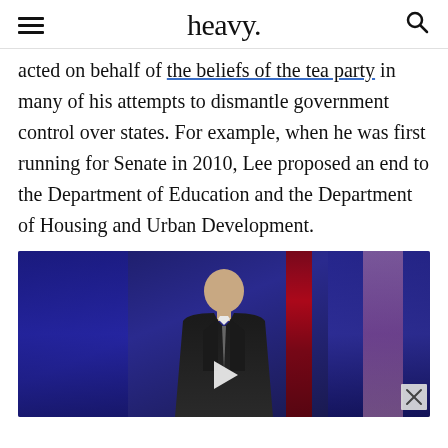heavy.
acted on behalf of the beliefs of the tea party in many of his attempts to dismantle government control over states. For example, when he was first running for Senate in 2010, Lee proposed an end to the Department of Education and the Department of Housing and Urban Development.
[Figure (photo): Video thumbnail showing a man in a dark suit speaking at a podium against a blue and red curtain backdrop, with a play button overlay and a close (X) button in the bottom right corner.]